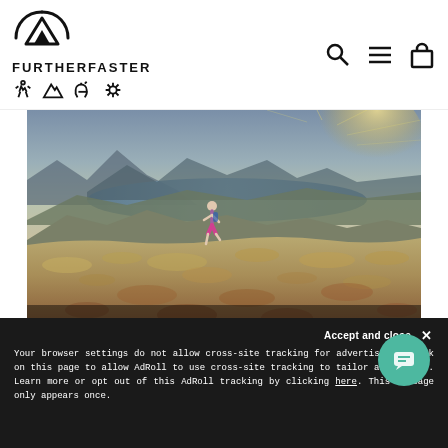[Figure (logo): FurtherFaster logo with mountain/circle icon, brand name FURTHERFASTER, and outdoor activity nav icons (hiker, mountain, dog, leash)]
[Figure (photo): Trail runner running across alpine tussock landscape with lake and mountains in background. Text overlay: STOKED TO BE PARTNERS WITH / KEPLER CHALLENGE with Kepler logo bottom right.]
OUR PARTNERS
Accept and close ×
Your browser settings do not allow cross-site tracking for advertising. Click on this page to allow AdRoll to use cross-site tracking to tailor ads to you. Learn more or opt out of this AdRoll tracking by clicking here. This message only appears once.